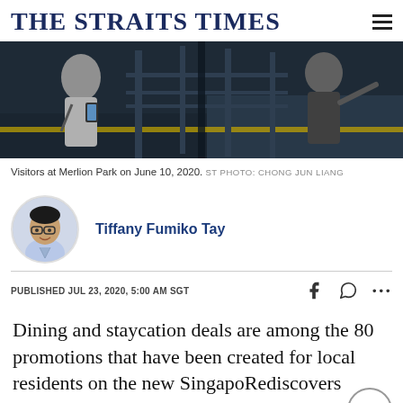THE STRAITS TIMES
[Figure (photo): Visitors at Merlion Park on June 10, 2020. Two people visible, one checking a phone on the left, one pointing in the distance on the right, dark industrial background.]
Visitors at Merlion Park on June 10, 2020.  ST PHOTO: CHONG JUN LIANG
Tiffany Fumiko Tay
PUBLISHED JUL 23, 2020, 5:00 AM SGT
Dining and staycation deals are among the 80 promotions that have been created for local residents on the new SingapoRediscovers microsite, with more to be added over the next